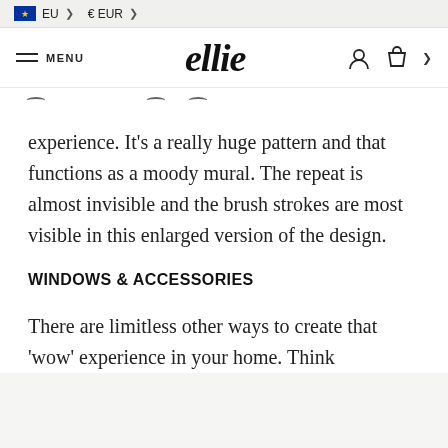EU  € EUR
≡ MENU   ellie
experience. It's a really huge pattern and that functions as a moody mural. The repeat is almost invisible and the brush strokes are most visible in this enlarged version of the design.
WINDOWS & ACCESSORIES
There are limitless other ways to create that 'wow' experience in your home. Think